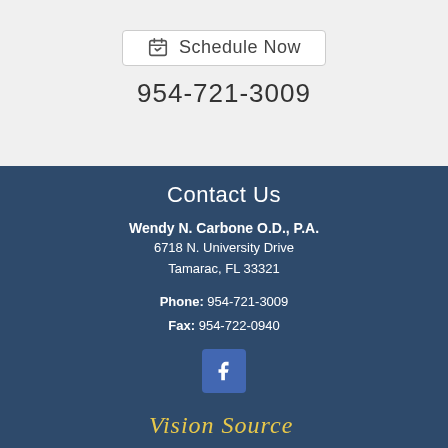[Figure (other): Schedule Now button with calendar icon]
954-721-3009
Contact Us
Wendy N. Carbone O.D., P.A.
6718 N. University Drive
Tamarac, FL 33321
Phone: 954-721-3009
Fax: 954-722-0940
[Figure (logo): Facebook icon button]
[Figure (logo): Vision Source logo]